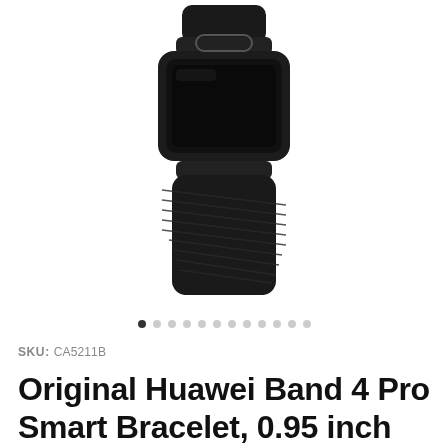[Figure (photo): Product photo of a black Huawei Band 4 Pro smart bracelet/fitness tracker, shown from above at a slight angle, with a rectangular AMOLED screen and black textured band]
SKU: CA5211B
Original Huawei Band 4 Pro Smart Bracelet, 0.95 inch AMOLED Color Screen, 5ATM Waterproof, Support Health Monitoring / Sport Recording /